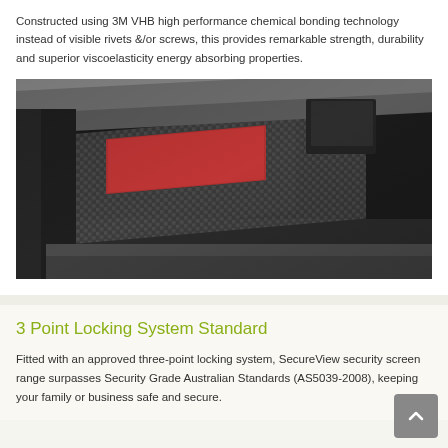Constructed using 3M VHB high performance chemical bonding technology instead of visible rivets &/or screws, this provides remarkable strength, durability and superior viscoelasticity energy absorbing properties.
[Figure (photo): Close-up 3D rendering of a layered security screen panel showing carbon fiber mesh texture, a red bonding tape layer, and dark aluminum framing components, illustrating 3M VHB bonding technology construction.]
3 Point Locking System Standard
Fitted with an approved three-point locking system, SecureView security screen range surpasses Security Grade Australian Standards (AS5039-2008), keeping your family or business safe and secure.